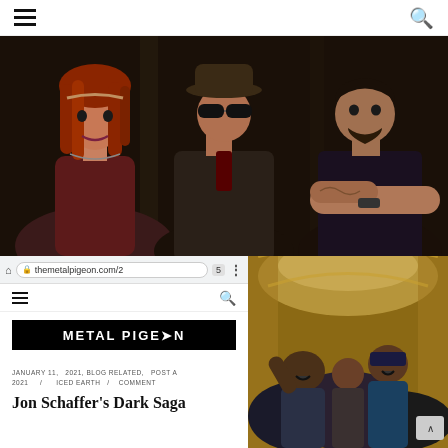Menu / Search navigation bar
[Figure (photo): Three members of metal band posing: woman with red dreadlocks on left, man in cowboy hat and sunglasses in center, man with dark hair and tattoos with arms crossed on right, dark stone background]
[Figure (screenshot): Mobile browser screenshot showing themetalpigeon.com/2 URL, Metal Pigeon logo on black bar, and article metadata: JANUARY 11, 2021 / BLOG RELATED, ICED EARTH / POST A COMMENT, with title Jon Schaffer's Dark Saga]
[Figure (photo): Photo of crowd inside ornate government building hallway, people shouting and raising hands, January 6 Capitol riot imagery]